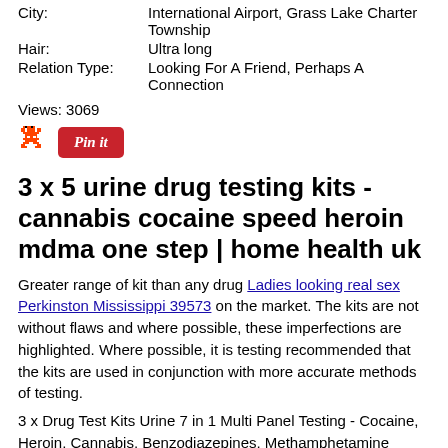City: International Airport, Grass Lake Charter Township
Hair: Ultra long
Relation Type: Looking For A Friend, Perhaps A Connection
Views: 3069
[Figure (other): Reddit alien icon and Pinterest Pin it button]
3 x 5 urine drug testing kits - cannabis cocaine speed heroin mdma one step | home health uk
Greater range of kit than any drug Ladies looking real sex Perkinston Mississippi 39573 on the market. The kits are not without flaws and where possible, these imperfections are highlighted. Where possible, it is testing recommended that the kits are used in conjunction with more accurate methods of testing.
3 x Drug Test Kits Urine 7 in 1 Multi Panel Testing - Cocaine, Heroin, Cannabis, Benzodiazepines, Methamphetamine